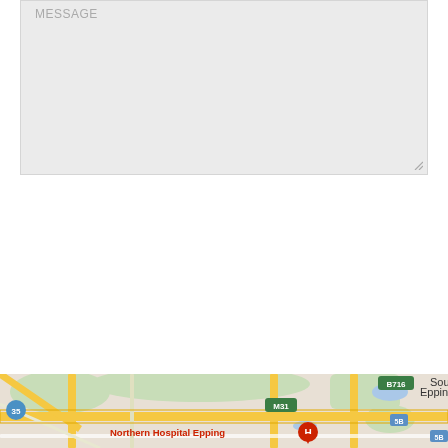[Figure (screenshot): Message text area input field with placeholder label 'MESSAGE' and resize handle in bottom right corner]
[Figure (screenshot): Yellow 'Submit' button]
[Figure (screenshot): Grey scroll-to-top button with upward chevron arrow on right edge]
[Figure (map): Google Maps screenshot showing Epping area with Northern Hospital Epping marked with a red H pin, road labels including B716, M31, route 35, route 58, and locality labels Epping and South]